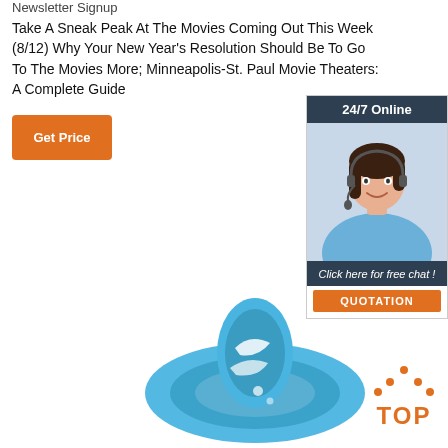Newsletter Signup
Take A Sneak Peak At The Movies Coming Out This Week (8/12) Why Your New Year’s Resolution Should Be To Go To The Movies More; Minneapolis-St. Paul Movie Theaters: A Complete Guide
[Figure (other): Orange Get Price button]
[Figure (other): Advertisement panel: 24/7 Online with customer service representative photo, Click here for free chat!, QUOTATION button]
[Figure (other): Blue fitness wristband/bracelet product photo]
[Figure (other): TOP navigation button with orange dots forming a triangle above the word TOP]